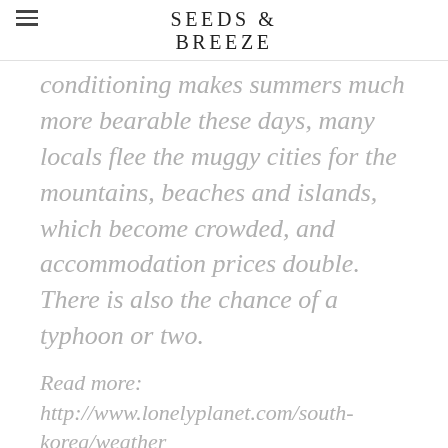SEEDS & BREEZE
conditioning makes summers much more bearable these days, many locals flee the muggy cities for the mountains, beaches and islands, which become crowded, and accommodation prices double. There is also the chance of a typhoon or two.
Read more: http://www.lonelyplanet.com/south-korea/weather
Typhoon? Monsoon? It's okay. Been there, done that in daily business casual attire?! I've done the bit where I attempt to wear as reasonably (and appropriately) little as I can to survive the humidity of Asia while trying to avoid